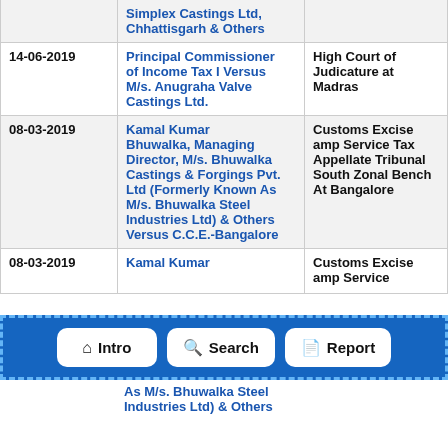| Date | Parties | Court |
| --- | --- | --- |
|  | Simplex Castings Ltd, Chhattisgarh & Others |  |
| 14-06-2019 | Principal Commissioner of Income Tax I Versus M/s. Anugraha Valve Castings Ltd. | High Court of Judicature at Madras |
| 08-03-2019 | Kamal Kumar Bhuwalka, Managing Director, M/s. Bhuwalka Castings & Forgings Pvt. Ltd (Formerly Known As M/s. Bhuwalka Steel Industries Ltd) & Others Versus C.C.E.-Bangalore | Customs Excise amp Service Tax Appellate Tribunal South Zonal Bench At Bangalore |
| 08-03-2019 | Kamal Kumar ... | Customs Excise amp Service ... |
[Figure (screenshot): Navigation bar overlay with three buttons: Intro (home icon), Search (magnifier icon), Report (document icon), on a blue dashed-border background]